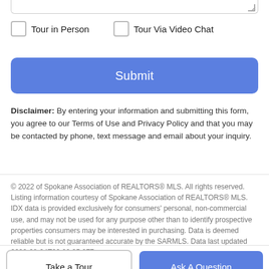Tour in Person
Tour Via Video Chat
Submit
Disclaimer: By entering your information and submitting this form, you agree to our Terms of Use and Privacy Policy and that you may be contacted by phone, text message and email about your inquiry.
© 2022 of Spokane Association of REALTORS® MLS. All rights reserved. Listing information courtesy of Spokane Association of REALTORS® MLS. IDX data is provided exclusively for consumers' personal, non-commercial use, and may not be used for any purpose other than to identify prospective properties consumers may be interested in purchasing. Data is deemed reliable but is not guaranteed accurate by the SARMLS. Data last updated 2022-08-24T09:20:35.277.
Take a Tour
Ask A Question